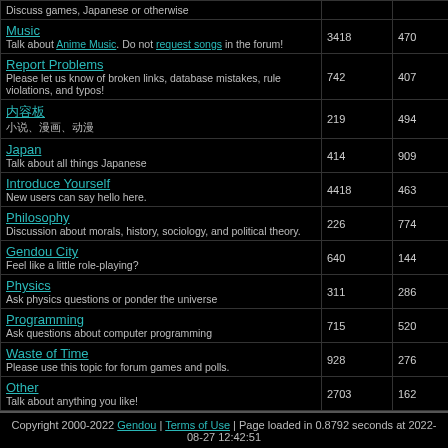| Forum | Topics | Posts |
| --- | --- | --- |
| Discuss games, Japanese or otherwise |  |  |
| Music
Talk about Anime Music. Do not request songs in the forum! | 3418 | 470 |
| Report Problems
Please let us know of broken links, database mistakes, rule violations, and typos! | 742 | 407 |
| [Japanese]
[Japanese desc] | 219 | 494 |
| Japan
Talk about all things Japanese | 414 | 909 |
| Introduce Yourself
New users can say hello here. | 4418 | 463 |
| Philosophy
Discussion about morals, history, sociology, and political theory. | 226 | 774 |
| Gendou City
Feel like a little role-playing? | 640 | 144 |
| Physics
Ask physics questions or ponder the universe | 311 | 286 |
| Programming
Ask questions about computer programming | 715 | 520 |
| Waste of Time
Please use this topic for forum games and polls. | 928 | 276 |
| Other
Talk about anything you like! | 2703 | 162 |
Copyright 2000-2022 Gendou | Terms of Use | Page loaded in 0.8792 seconds at 2022-08-27 12:42:51